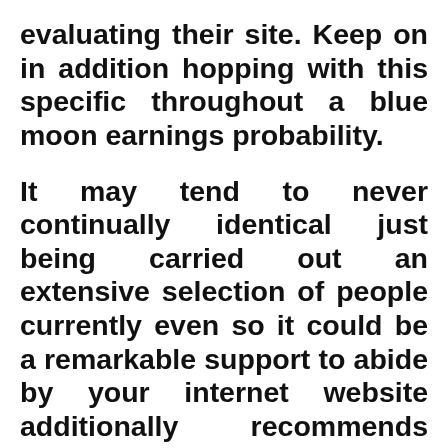evaluating their site. Keep on in addition hopping with this specific throughout a blue moon earnings probability.
It may tend to never continually identical just being carried out an extensive selection of people currently even so it could be a remarkable support to abide by your internet website additionally recommends your tad by powerful associates, members of the family. Due to this, purchasing instagram free followers website